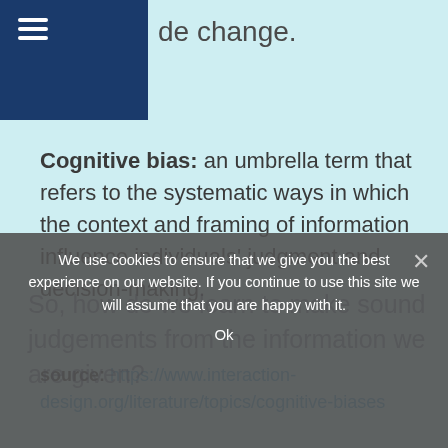de change.
Cognitive bias: an umbrella term that refers to the systematic ways in which the context and framing of information influence individuals' judgment and decision-making.
source: https://www.interaction-design.org/literature/topics/cognitive-biases
We use cookies to ensure that we give you the best experience on our website. If you continue to use this site we will assume that you are happy with it.
So, how do we learn to make sound judgements from the information we are given?